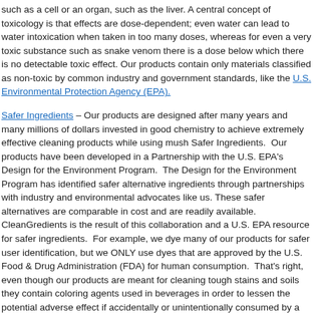such as a cell or an organ, such as the liver. A central concept of toxicology is that effects are dose-dependent; even water can lead to water intoxication when taken in too many doses, whereas for even a very toxic substance such as snake venom there is a dose below which there is no detectable toxic effect. Our products contain only materials classified as non-toxic by common industry and government standards, like the U.S. Environmental Protection Agency (EPA).
Safer Ingredients – Our products are designed after many years and many millions of dollars invested in good chemistry to achieve extremely effective cleaning products while using mush Safer Ingredients. Our products have been developed in a Partnership with the U.S. EPA's Design for the Environment Program. The Design for the Environment Program has identified safer alternative ingredients through partnerships with industry and environmental advocates like us. These safer alternatives are comparable in cost and are readily available. CleanGredients is the result of this collaboration and a U.S. EPA resource for safer ingredients. For example, we dye many of our products for safer user identification, but we ONLY use dyes that are approved by the U.S. Food & Drug Administration (FDA) for human consumption. That's right, even though our products are meant for cleaning tough stains and soils they contain coloring agents used in beverages in order to lessen the potential adverse effect if accidentally or unintentionally consumed by a small child or disabled adult.